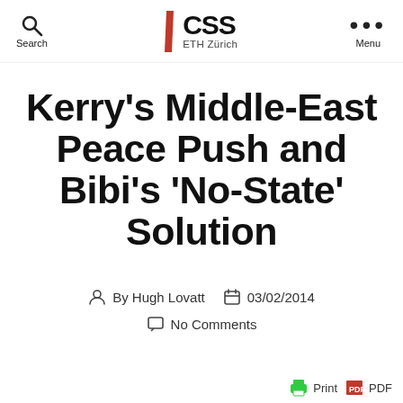CSS ETH Zürich — Search, Menu
Kerry's Middle-East Peace Push and Bibi's 'No-State' Solution
By Hugh Lovatt   03/02/2014   No Comments